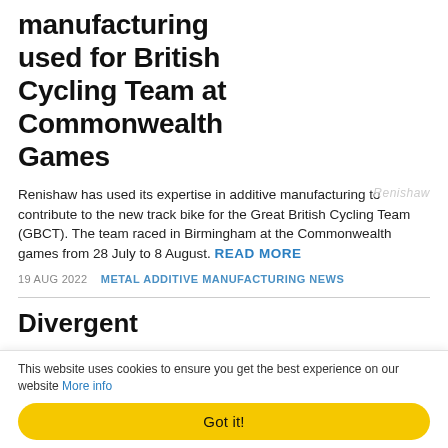manufacturing used for British Cycling Team at Commonwealth Games
Renishaw has used its expertise in additive manufacturing to contribute to the new track bike for the Great British Cycling Team (GBCT). The team raced in Birmingham at the Commonwealth games from 28 July to 8 August. READ MORE
19 AUG 2022   METAL ADDITIVE MANUFACTURING NEWS
Divergent
This website uses cookies to ensure you get the best experience on our website More info
Got it!